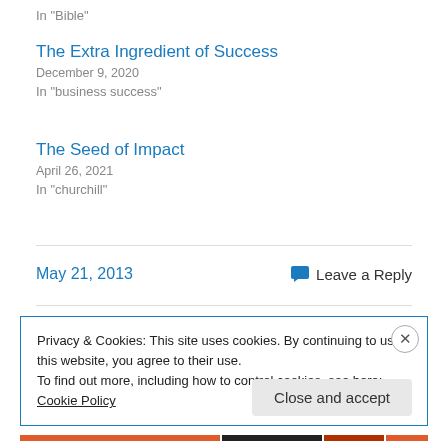In "Bible"
The Extra Ingredient of Success
December 9, 2020
In "business success"
The Seed of Impact
April 26, 2021
In "churchill"
May 21, 2013
Leave a Reply
Privacy & Cookies: This site uses cookies. By continuing to use this website, you agree to their use.
To find out more, including how to control cookies, see here: Cookie Policy